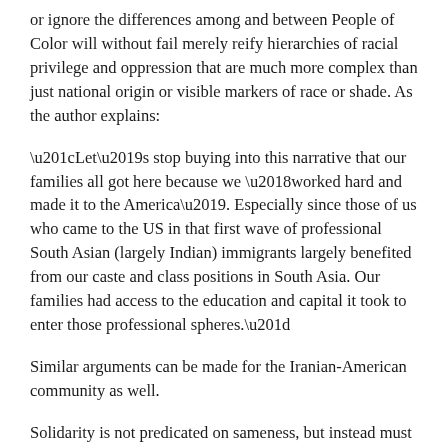or ignore the differences among and between People of Color will without fail merely reify hierarchies of racial privilege and oppression that are much more complex than just national origin or visible markers of race or shade. As the author explains:
“Let’s stop buying into this narrative that our families all got here because we ‘worked hard and made it to the America’. Especially since those of us who came to the US in that first wave of professional South Asian (largely Indian) immigrants largely benefited from our caste and class positions in South Asia. Our families had access to the education and capital it took to enter those professional spheres.”
Similar arguments can be made for the Iranian-American community as well.
Solidarity is not predicated on sameness, but instead must be informed by an open and honest acknowledgement of difference. This difference must also include an understanding of how contextual all of these phrases are; in the United States, I may be a mixed Person of Color who passes as White, while in Iran I am a